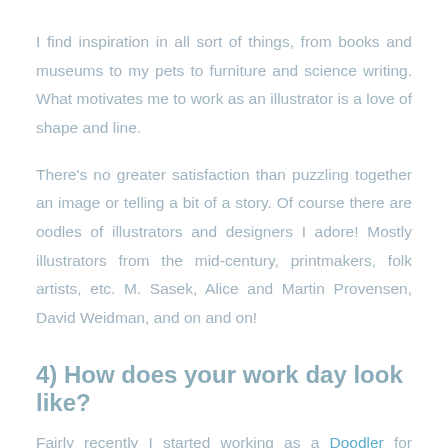I find inspiration in all sort of things, from books and museums to my pets to furniture and science writing. What motivates me to work as an illustrator is a love of shape and line.

There's no greater satisfaction than puzzling together an image or telling a bit of a story. Of course there are oodles of illustrators and designers I adore! Mostly illustrators from the mid-century, printmakers, folk artists, etc. M. Sasek, Alice and Martin Provensen, David Weidman, and on and on!
4) How does your work day look like?
Fairly recently I started working as a Doodler for Google which means I'm one of a team of artists that creates the